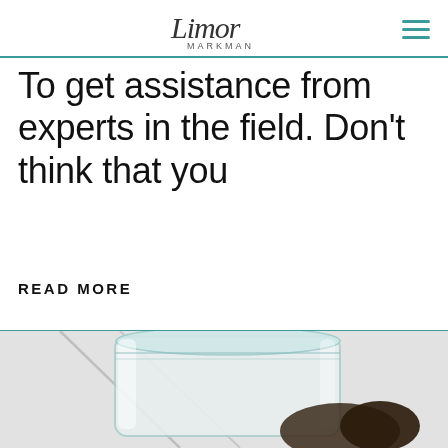Limor Markman
To get assistance from experts in the field. Don't think that you
READ MORE
[Figure (photo): Close-up photo of a glass jar or container, possibly containing dark objects, on a light background with some diagonal lines visible.]